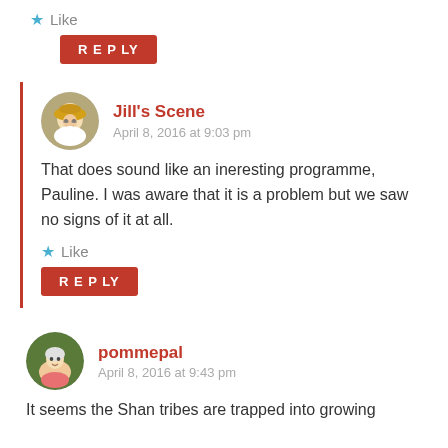Like
REPLY
Jill's Scene
April 8, 2016 at 9:03 pm
That does sound like an ineresting programme, Pauline. I was aware that it is a problem but we saw no signs of it at all.
Like
REPLY
pommepal
April 8, 2016 at 9:43 pm
It seems the Shan tribes are trapped into growing